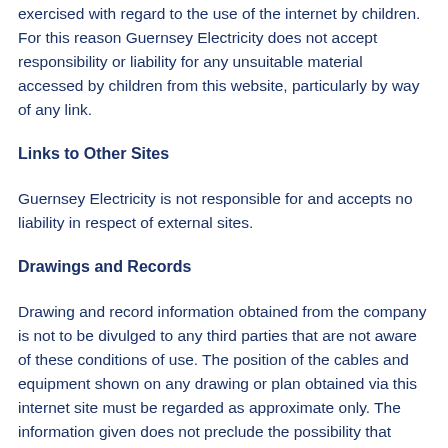exercised with regard to the use of the internet by children. For this reason Guernsey Electricity does not accept responsibility or liability for any unsuitable material accessed by children from this website, particularly by way of any link.
Links to Other Sites
Guernsey Electricity is not responsible for and accepts no liability in respect of external sites.
Drawings and Records
Drawing and record information obtained from the company is not to be divulged to any third parties that are not aware of these conditions of use. The position of the cables and equipment shown on any drawing or plan obtained via this internet site must be regarded as approximate only. The information given does not preclude the possibility that